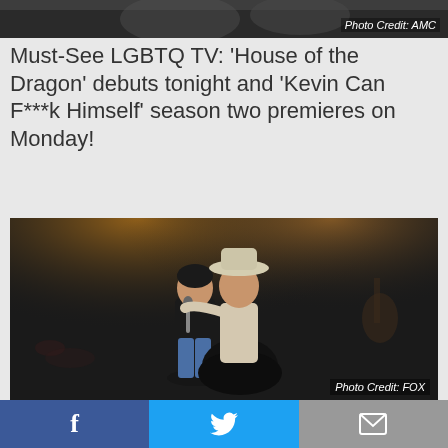[Figure (photo): Top portion of an AMC show image, partially cropped]
Photo Credit: AMC
Must-See LGBTQ TV: ‘House of the Dragon’ debuts tonight and ‘Kevin Can F***k Himself’ season two premieres on Monday!
[Figure (photo): Two women on a stage, one in a cowboy hat hugging the other who holds a microphone, dark concert lighting]
Photo Credit: FOX
The GLAAD Wrap: Trailers for ‘High School’ and ‘Monarch,’ HCA and Dorian TV Awards winners announced, new music video from Riotron and